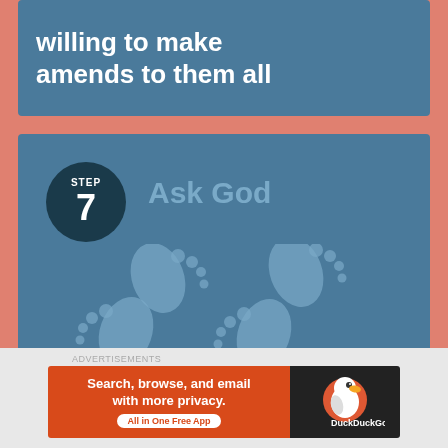willing to make amends to them all
[Figure (infographic): Step 7 card with dark teal circle showing STEP 7, text 'Ask God' in muted blue, and two pairs of light blue footprints on a steel blue background]
ADVERTISEMENTS
[Figure (infographic): DuckDuckGo advertisement banner: orange left side with text 'Search, browse, and email with more privacy. All in One Free App', dark right side with DuckDuckGo duck logo]